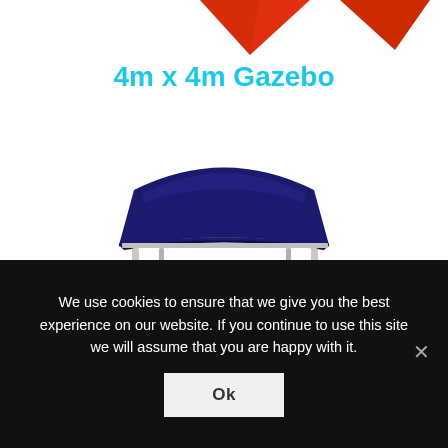[Figure (photo): Partial view of red/orange triangular flag banners at the top of the page, cropped]
4m x 4m Gazebo
[Figure (photo): A navy blue 4m x 4m pop-up gazebo with silver/aluminium frame legs on a white background]
We use cookies to ensure that we give you the best experience on our website. If you continue to use this site we will assume that you are happy with it.
Ok